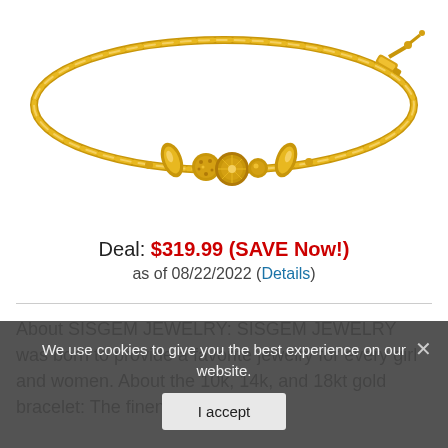[Figure (photo): Gold bracelet with snake chain and decorative beads/charms in the center, shown on white background]
Deal: $319.99 (SAVE Now!) as of 08/22/2022 (Details)
About SISGEM JEWELRY: SISGEM JEWELRY was born to provide a favorite jewelry for every girl and women. About the 10k, 14k, and 18kt gold bracelet: The fineness of a
We use cookies to give you the best experience on our website.
I accept